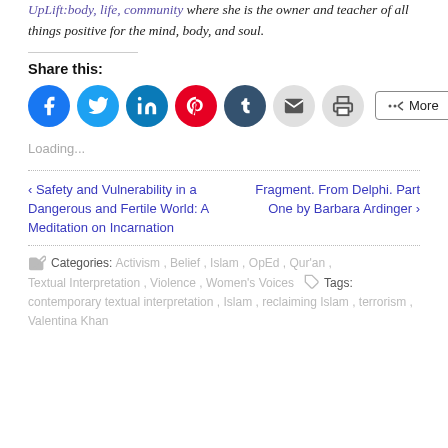UpLift:body, life, community where she is the owner and teacher of all things positive for the mind, body, and soul.
Share this:
[Figure (other): Row of social sharing icon buttons: Facebook, Twitter, LinkedIn, Pinterest, Tumblr, Email, Print, and a More button]
Loading...
‹ Safety and Vulnerability in a Dangerous and Fertile World: A Meditation on Incarnation
Fragment. From Delphi. Part One by Barbara Ardinger ›
Categories: Activism , Belief , Islam , OpEd , Qur'an , Textual Interpretation , Violence , Women's Voices   Tags: contemporary textual interpretation , Islam , reclaiming Islam , terrorism , Valentina Khan